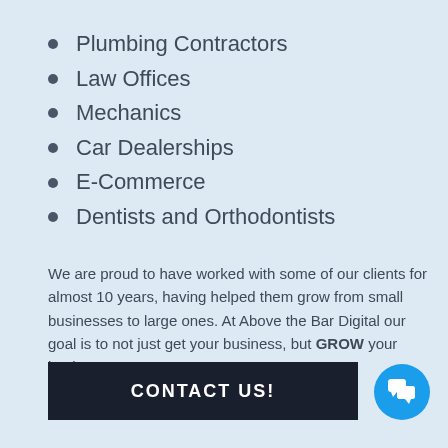Plumbing Contractors
Law Offices
Mechanics
Car Dealerships
E-Commerce
Dentists and Orthodontists
We are proud to have worked with some of our clients for almost 10 years, having helped them grow from small businesses to large ones. At Above the Bar Digital our goal is to not just get your business, but GROW your business.
CONTACT US!